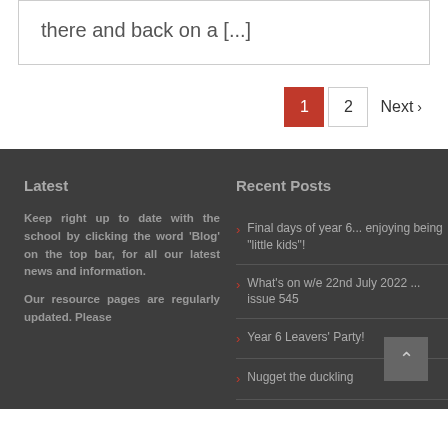there and back on a [...]
1  2  Next >
Latest
Keep right up to date with the school by clicking the word 'Blog' on the top bar, for all our latest news and information.
Our resource pages are regularly updated. Please
Recent Posts
Final days of year 6... enjoying being "little kids"!
What's on w/e 22nd July 2022 ... issue 545
Year 6 Leavers' Party!
Nugget the duckling